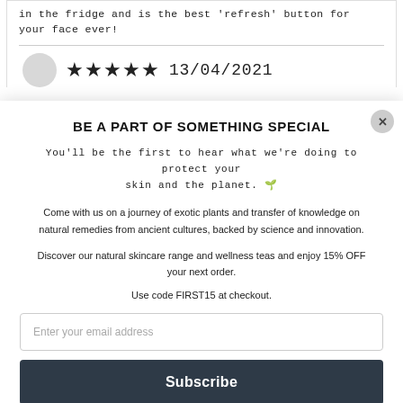in the fridge and is the best 'refresh' button for your face ever!
★★★★★ 13/04/2021
BE A PART OF SOMETHING SPECIAL
You'll be the first to hear what we're doing to protect your skin and the planet. 🌱
Come with us on a journey of exotic plants and transfer of knowledge on natural remedies from ancient cultures, backed by science and innovation.
Discover our natural skincare range and wellness teas and enjoy 15% OFF your next order.
Use code FIRST15 at checkout.
Enter your email address
Subscribe